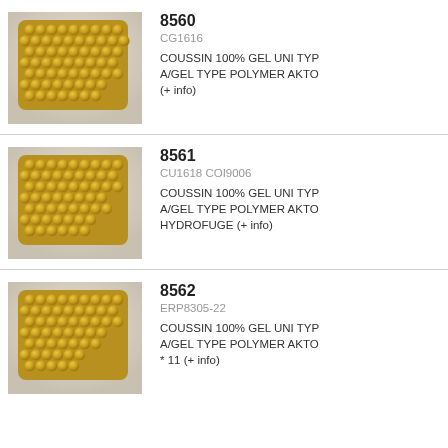[Figure (photo): Golden gel cushion with bubble/honeycomb pattern surface, rectangular shape with rounded corners]
8560
CG1616
COUSSIN 100% GEL UNI TYP A/GEL TYPE POLYMER AKTO (+ info)
[Figure (photo): Golden gel cushion with bubble/honeycomb pattern surface, rectangular shape with rounded corners]
8561
CU1618 COI9006
COUSSIN 100% GEL UNI TYP A/GEL TYPE POLYMER AKTO HYDROFUGE (+ info)
[Figure (photo): Golden gel cushion with bubble/honeycomb pattern surface, rectangular shape with rounded corners]
8562
ERP8305-22
COUSSIN 100% GEL UNI TYP A/GEL TYPE POLYMER AKTO * 11 (+ info)